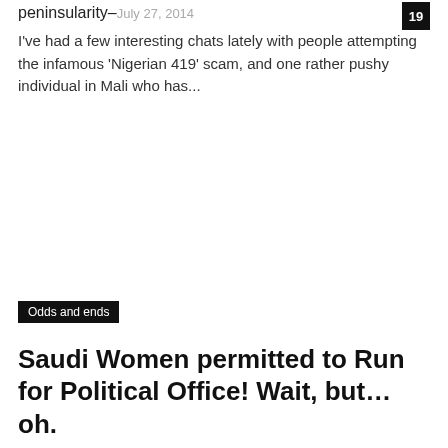peninsularity – July 27, 2014
I've had a few interesting chats lately with people attempting the infamous 'Nigerian 419' scam, and one rather pushy individual in Mali who has...
Odds and ends
Saudi Women permitted to Run for Political Office! Wait, but… oh.
peninsularity – October 14, 2015
The tt...